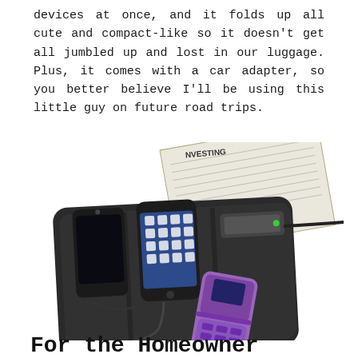devices at once, and it folds up all cute and compact-like so it doesn't get all jumbled up and lost in our luggage. Plus, it comes with a car adapter, so you better believe I'll be using this little guy on future road trips.
[Figure (photo): A black multi-device charging pad/mat with multiple mobile phones and devices (including an iPhone, a Motorola flip phone, and another phone) plugged in and charging, along with cables and a power adapter. A newspaper is visible in the background.]
For the Homeowner